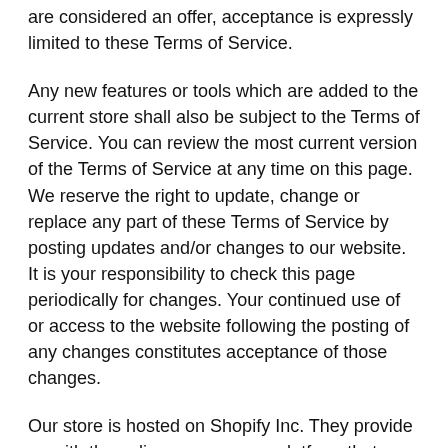are considered an offer, acceptance is expressly limited to these Terms of Service.
Any new features or tools which are added to the current store shall also be subject to the Terms of Service. You can review the most current version of the Terms of Service at any time on this page. We reserve the right to update, change or replace any part of these Terms of Service by posting updates and/or changes to our website. It is your responsibility to check this page periodically for changes. Your continued use of or access to the website following the posting of any changes constitutes acceptance of those changes.
Our store is hosted on Shopify Inc. They provide us with the online e-commerce platform that allows us to sell our products and services to you.
SECTION 1 - ONLINE STORE TERMS
By agreeing to these Terms of Service, you represent